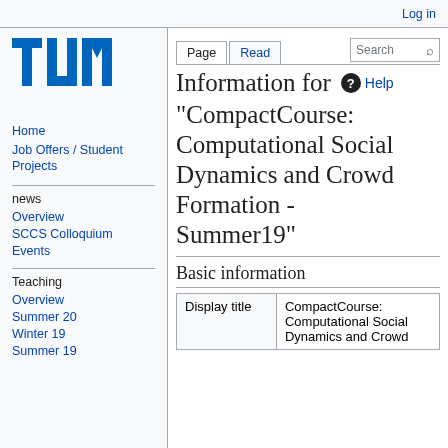Log in
[Figure (logo): TUM (Technische Universität München) blue logo with three vertical pillars]
Home
Job Offers / Student Projects
news
Overview
SCCS Colloquium
Events
Teaching
Overview
Summer 20
Winter 19
Summer 19
Information for "CompactCourse: Computational Social Dynamics and Crowd Formation - Summer19"
Basic information
| Display title | CompactCourse: Computational Social Dynamics and Crowd |
| --- | --- |
| Display title | CompactCourse: Computational Social Dynamics and Crowd |